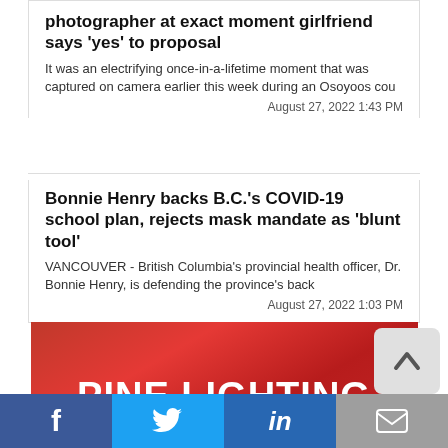photographer at exact moment girlfriend says 'yes' to proposal
It was an electrifying once-in-a-lifetime moment that was captured on camera earlier this week during an Osoyoos cou
August 27, 2022 1:43 PM
Bonnie Henry backs B.C.'s COVID-19 school plan, rejects mask mandate as 'blunt tool'
VANCOUVER - British Columbia's provincial health officer, Dr. Bonnie Henry, is defending the province's back
August 27, 2022 1:03 PM
[Figure (other): Red advertisement banner with white bold text reading PINE LIGHTING]
Trending Now
[Figure (photo): Partial view of a trending news photo showing what appears to be an animal (panda or similar)]